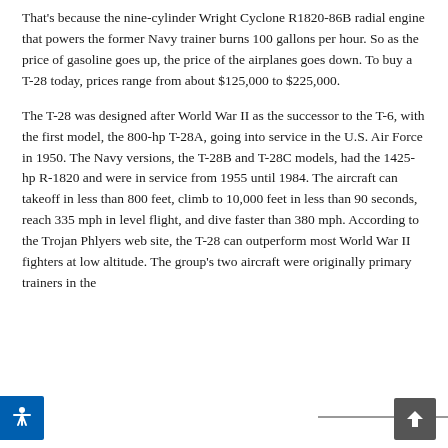That's because the nine-cylinder Wright Cyclone R1820-86B radial engine that powers the former Navy trainer burns 100 gallons per hour. So as the price of gasoline goes up, the price of the airplanes goes down. To buy a T-28 today, prices range from about $125,000 to $225,000.
The T-28 was designed after World War II as the successor to the T-6, with the first model, the 800-hp T-28A, going into service in the U.S. Air Force in 1950. The Navy versions, the T-28B and T-28C models, had the 1425-hp R-1820 and were in service from 1955 until 1984. The aircraft can takeoff in less than 800 feet, climb to 10,000 feet in less than 90 seconds, reach 335 mph in level flight, and dive faster than 380 mph. According to the Trojan Phlyers web site, the T-28 can outperform most World War II fighters at low altitude. The group's two aircraft were originally primary trainers in the